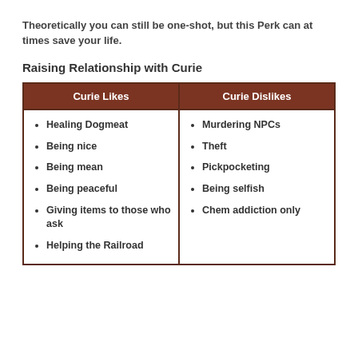Theoretically you can still be one-shot, but this Perk can at times save your life.
Raising Relationship with Curie
| Curie Likes | Curie Dislikes |
| --- | --- |
| Healing Dogmeat
Being nice
Being mean
Being peaceful
Giving items to those who ask
Helping the Railroad | Murdering NPCs
Theft
Pickpocketing
Being selfish
Chem addiction only |